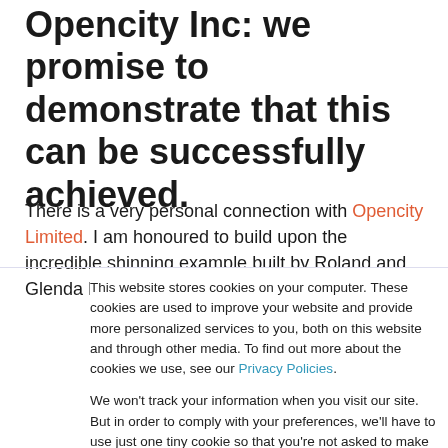Opencity Inc: we promise to demonstrate that this can be successfully achieved.
There is a very personal connection with Opencity Limited. I am honoured to build upon the incredible shinning example built by Roland and Glenda Renyi. Thank you for
This website stores cookies on your computer. These cookies are used to improve your website and provide more personalized services to you, both on this website and through other media. To find out more about the cookies we use, see our Privacy Policies.

We won't track your information when you visit our site. But in order to comply with your preferences, we'll have to use just one tiny cookie so that you're not asked to make this choice again.
Accept | Decline